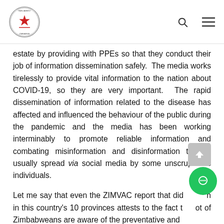Parliament of Zimbabwe header with logo, search and menu icons
estate by providing with PPEs so that they conduct their job of information dissemination safely. The media works tirelessly to provide vital information to the nation about COVID-19, so they are very important. The rapid dissemination of information related to the disease has affected and influenced the behaviour of the public during the pandemic and the media has been working interminably to promote reliable information and combating misinformation and disinformation that is usually spread via social media by some unscrupulous individuals.
Let me say that even the ZIMVAC report that did research in this country's 10 provinces attests to the fact that most of Zimbabweans are aware of the preventative and